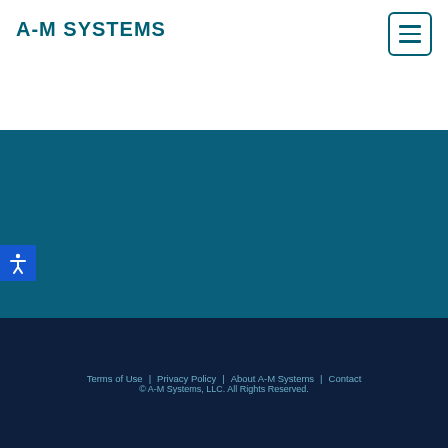A-M SYSTEMS
[Figure (other): Hamburger/menu button icon with three horizontal lines, teal border]
[Figure (other): Teal blue background section (main content area, appears empty)]
[Figure (other): Blue accessibility icon button showing a person figure with arms outstretched]
Terms of Use | Privacy Policy | About A-M Systems | Contact
© A-M Systems, LLC. All Rights Reserved.